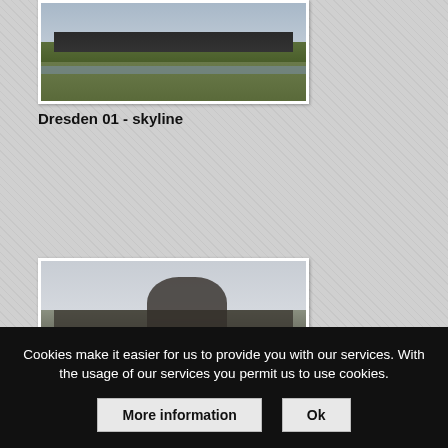[Figure (photo): Photograph of Dresden skyline from a distance across a green field, with city buildings silhouetted on the horizon and a river visible.]
Dresden 01 - skyline
[Figure (photo): Photograph of Dresden Frauenkirche and surrounding historic buildings viewed from the river, with water in the foreground.]
Cookies make it easier for us to provide you with our services. With the usage of our services you permit us to use cookies.
More information
Ok